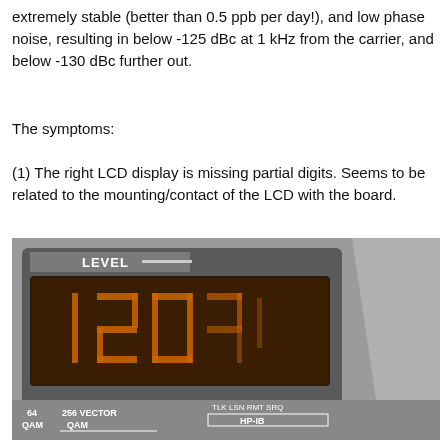extremely stable (better than 0.5 ppb per day!), and low phase noise, resulting in below -125 dBc at 1 kHz from the carrier, and below -130 dBc further out.
The symptoms:
(1) The right LCD display is missing partial digits. Seems to be related to the mounting/contact of the LCD with the board.
[Figure (photo): Close-up photograph of an electronic instrument's front panel showing an LCD display with partially missing digits reading something like '1203' or similar, with labels 'LEVEL', '64 QAM', '256 QAM', 'VECTOR', 'TLK', 'LSN', 'RMT', 'SRQ', 'HP-IB' visible on the panel.]